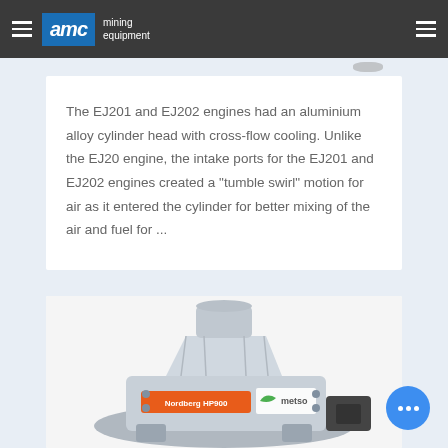AMC mining equipment
The EJ201 and EJ202 engines had an aluminium alloy cylinder head with cross-flow cooling. Unlike the EJ20 engine, the intake ports for the EJ201 and EJ202 engines created a "tumble swirl" motion for air as it entered the cylinder for better mixing of the air and fuel for ...
[Figure (photo): Photo of a Metso Nordberg HP900 cone crusher, grey industrial mining equipment with orange branding label and metso logo visible.]